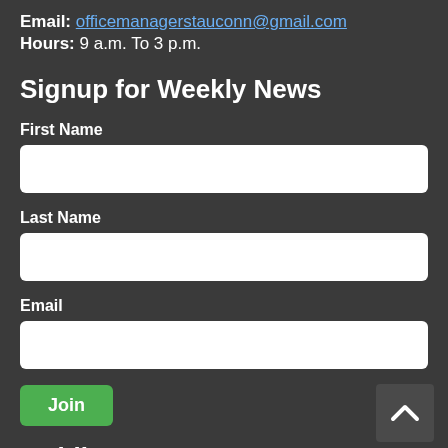Email: officemanagerstauconn@gmail.com
Hours: 9 a.m. To 3 p.m.
Signup for Weekly News
First Name
Last Name
Email
Join
Mobile App